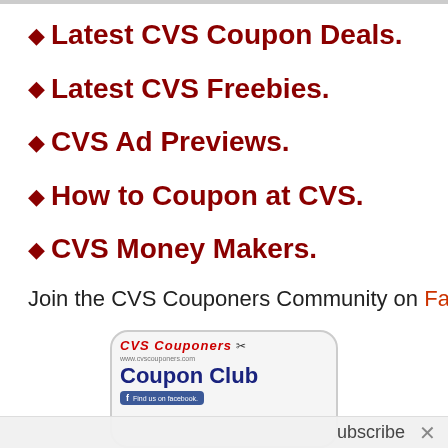Latest CVS Coupon Deals.
Latest CVS Freebies.
CVS Ad Previews.
How to Coupon at CVS.
CVS Money Makers.
Join the CVS Couponers Community on Facebook.
[Figure (logo): CVS Couponers Coupon Club logo with Facebook badge]